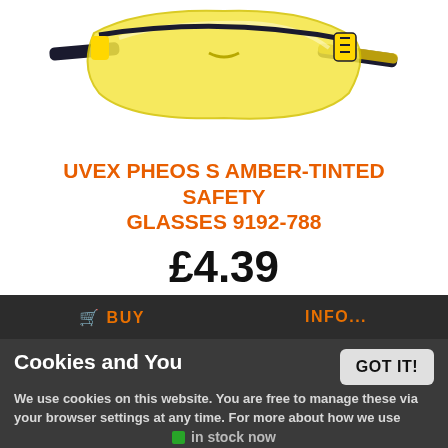[Figure (photo): Product photo of Uvex Pheos S amber-tinted safety glasses with yellow lens and black/yellow frame arms, shown angled on white background]
UVEX PHEOS S AMBER-TINTED SAFETY GLASSES 9192-788
£4.39
Cookies and You
We use cookies on this website. You are free to manage these via your browser settings at any time. For more about how we use cookies, please see our Cookie Policy.
GOT IT!
in stock now